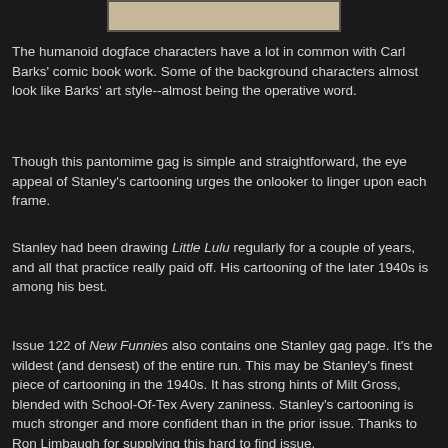[Figure (photo): Partial image strip at the top of the page, showing the bottom edge of a comic book panel with a beige/tan background.]
The humanoid dogface characters have a lot in common with Carl Barks' comic book work. Some of the background characters almost look like Barks' art style--almost being the operative word.
Though this pantomime gag is simple and straightforward, the eye appeal of Stanley's cartooning urges the onlooker to linger upon each frame.
Stanley had been drawing Little Lulu regularly for a couple of years, and all that practice really paid off. His cartooning of the later 1940s is among his best.
Issue 122 of New Funnies also contains one Stanley gag page. It's the wildest (and densest) of the entire run. This may be Stanley's finest piece of cartooning in the 1940s. It has strong hints of Milt Gross, blended with School-Of-Tex Avery zaniness. Stanley's cartooning is much stronger and more confident than in the prior issue. Thanks to Ron Limbaugh for supplying this hard to find issue.